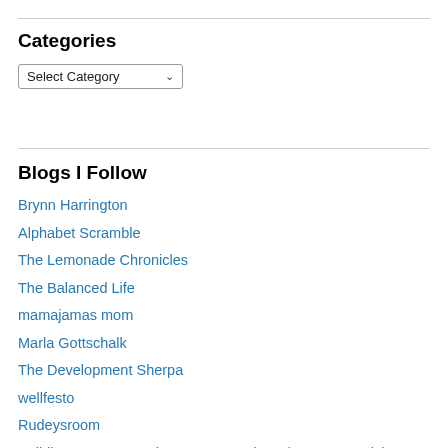Categories
Select Category
Blogs I Follow
Brynn Harrington
Alphabet Scramble
The Lemonade Chronicles
The Balanced Life
mamajamas mom
Marla Gottschalk
The Development Sherpa
wellfesto
Rudeysroom
Building Customer Driven SaaS Products | Jason Evanish
Jason Good 365°
The Blog of Author Tim Ferriss